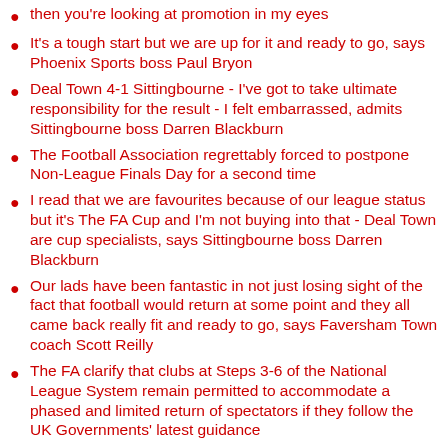then you're looking at promotion in my eyes
It's a tough start but we are up for it and ready to go, says Phoenix Sports boss Paul Bryon
Deal Town 4-1 Sittingbourne - I've got to take ultimate responsibility for the result - I felt embarrassed, admits Sittingbourne boss Darren Blackburn
The Football Association regrettably forced to postpone Non-League Finals Day for a second time
I read that we are favourites because of our league status but it's The FA Cup and I'm not buying into that - Deal Town are cup specialists, says Sittingbourne boss Darren Blackburn
Our lads have been fantastic in not just losing sight of the fact that football would return at some point and they all came back really fit and ready to go, says Faversham Town coach Scott Reilly
The FA clarify that clubs at Steps 3-6 of the National League System remain permitted to accommodate a phased and limited return of spectators if they follow the UK Governments' latest guidance
It's an honour to welcome home Andy Drury to Sittingbourne, says boss Darren Blackburn
Pitching In: Isthmian League announce new title sponsor
Folkestone Invicta boss Neil Cugley unveils Adem Ramaden